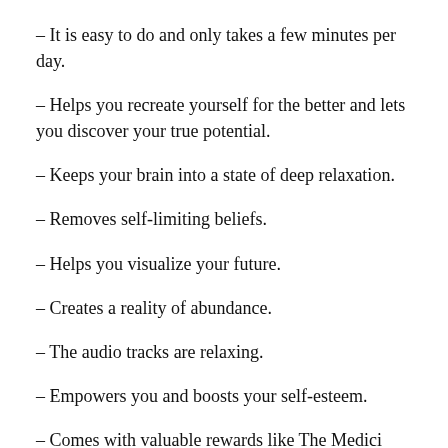– It is easy to do and only takes a few minutes per day.
– Helps you recreate yourself for the better and lets you discover your true potential.
– Keeps your brain into a state of deep relaxation.
– Removes self-limiting beliefs.
– Helps you visualize your future.
– Creates a reality of abundance.
– The audio tracks are relaxing.
– Empowers you and boosts your self-esteem.
– Comes with valuable rewards like The Medici Shield